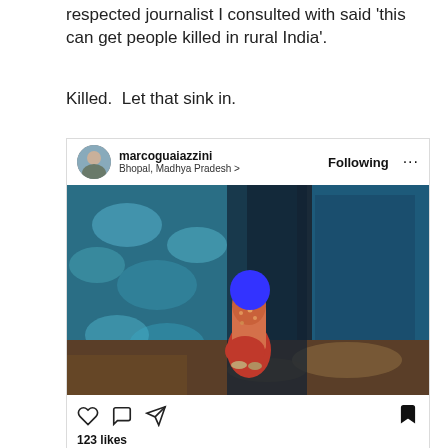respected journalist I consulted with said 'this can get people killed in rural India'.
Killed.  Let that sink in.
[Figure (screenshot): Instagram post by marcoguaiazzini, location Bhopal Madhya Pradesh, showing a person seated against a blue wall with face obscured by a blue circle, with 123 likes and interaction icons (heart, comment, share, bookmark). Caption preview: marcoguaiazzini November 25th marks the]